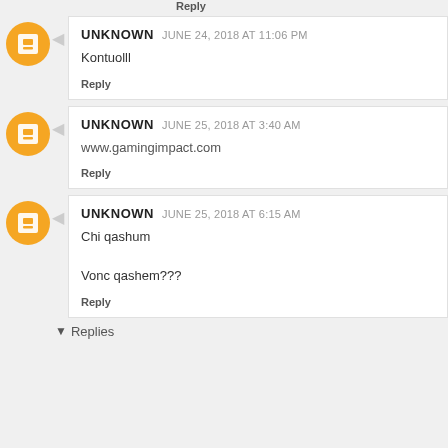Reply
UNKNOWN JUNE 24, 2018 AT 11:06 PM
Kontuolll
Reply
UNKNOWN JUNE 25, 2018 AT 3:40 AM
www.gamingimpact.com
Reply
UNKNOWN JUNE 25, 2018 AT 6:15 AM
Chi qashum
Vonc qashem???
Reply
Replies